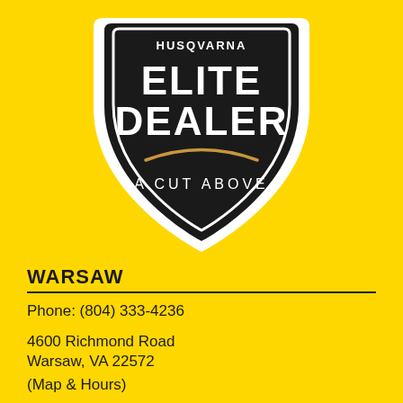[Figure (logo): Shield-shaped Elite Dealer badge with black background, white text reading ELITE DEALER, gold arc swoosh, and white text A CUT ABOVE. Partial brand name visible at top.]
WARSAW
Phone: (804) 333-4236
4600 Richmond Road
Warsaw, VA 22572
(Map & Hours)